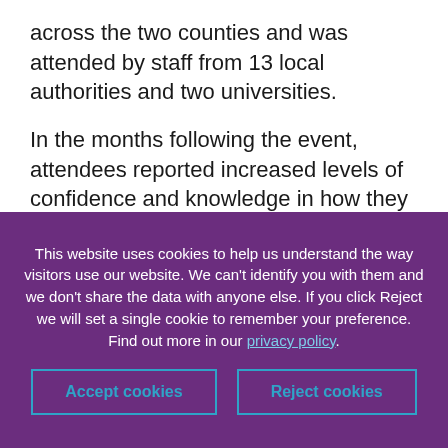across the two counties and was attended by staff from 13 local authorities and two universities.
In the months following the event, attendees reported increased levels of confidence and knowledge in how they can support their Armed Forces communities. They also noted improvements in their action plans and policies,
This website uses cookies to help us understand the way visitors use our website. We can't identify you with them and we don't share the data with anyone else. If you click Reject we will set a single cookie to remember your preference. Find out more in our privacy policy.